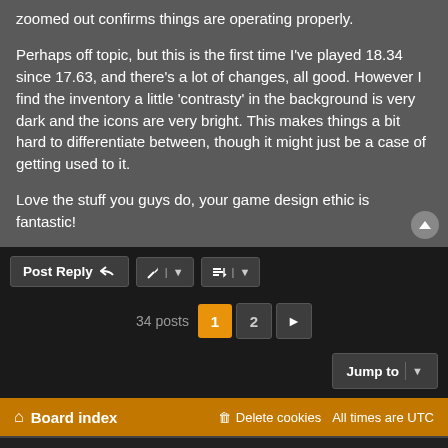zoomed out confirms things are operating properly.
Perhaps off topic, but this is the first time I've played 18.34 since 17.63, and there's a lot of changes, all good. However I find the inventory a little 'contrasty' in the background is very dark and the icons are very bright. This makes things a bit hard to differentiate between, though it might just be a case of getting used to it.
Love the stuff you guys do, your game design ethic is fantastic!
Post Reply
34 posts  1  2  >
Jump to
Board index  Delete cookies  All times are UTC
Powered by phpBB® Forum Software © phpBB Limited  Privacy | Terms